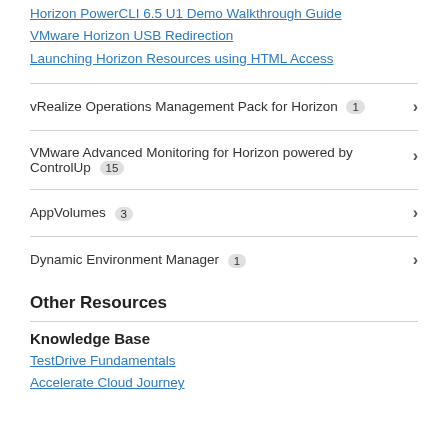Horizon PowerCLI 6.5 U1 Demo Walkthrough Guide
VMware Horizon USB Redirection
Launching Horizon Resources using HTML Access
vRealize Operations Management Pack for Horizon  1
VMware Advanced Monitoring for Horizon powered by ControlUp  15
AppVolumes  3
Dynamic Environment Manager  1
Other Resources
Knowledge Base
TestDrive Fundamentals
Accelerate Cloud Journey